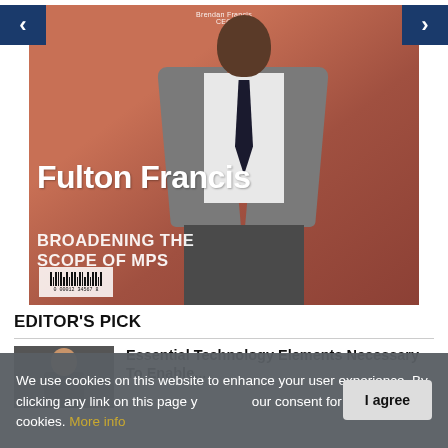[Figure (photo): Magazine cover featuring a man in a grey suit with black tie against a reddish-orange background, with large white text reading 'Fulton Francis' and 'BROADENING THE SCOPE OF MPS'. Navigation arrows on left and right. Small byline at top reading 'Brendan Francis CEO'. Barcode in bottom left corner.]
EDITOR'S PICK
[Figure (photo): Thumbnail photo of a woman with dark hair]
Essential Technology Elements Necessary To Enable...
We use cookies on this website to enhance your user experience. By clicking any link on this page you give your consent for us to set cookies. More info